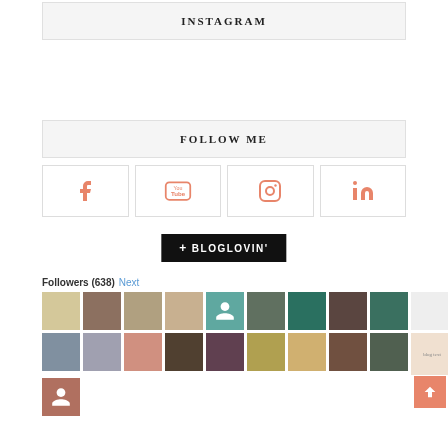INSTAGRAM
FOLLOW ME
[Figure (infographic): Row of four social media icon buttons: Facebook, YouTube, Instagram, LinkedIn — all in salmon/coral color with border boxes]
[Figure (infographic): Bloglovin button, black background, white text reading '+ BLOGLOVIN\u2019']
Followers (638) Next
[Figure (infographic): Grid of follower avatar thumbnails, 2 rows of 10 plus 1 extra, various profile photos and placeholder icons]